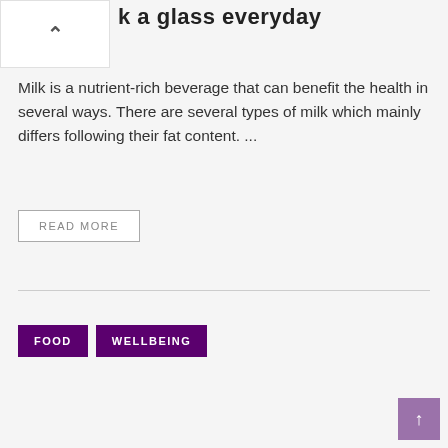k a glass everyday
Milk is a nutrient-rich beverage that can benefit the health in several ways. There are several types of milk which mainly differs following their fat content. ...
READ MORE
FOOD
WELLBEING